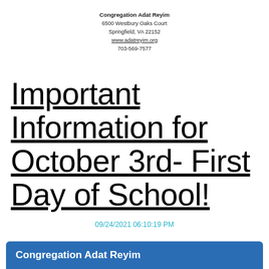Congregation Adat Reyim
6500 Westbury Oaks Court
Springfield, VA 22152
www.adatreyim.org
703-569-7577
Important Information for October 3rd- First Day of School!
09/24/2021 06:10:19 PM
Congregation Adat Reyim